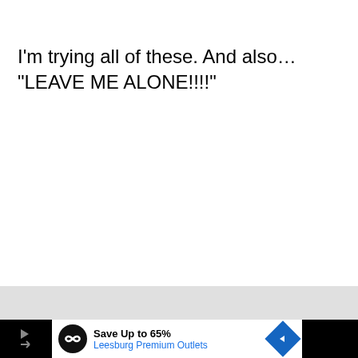I'm trying all of these. And also... "LEAVE ME ALONE!!!!"
[Figure (screenshot): Mobile browser toolbar with hamburger menu button on gray bar]
[Figure (screenshot): Advertisement banner: Save Up to 65% Leesburg Premium Outlets with logo and navigation arrow icon]